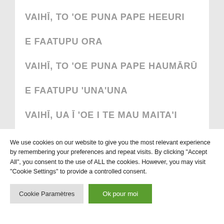VAIHĪ, TO 'OE PUNA PAPE HEEURI
E FAATUPU ORA
VAIHĪ, TO 'OE PUNA PAPE HAUMĀRŪ
E FAATUPU 'UNA'UNA
VAIHĪ, UA Ī 'OE I TE MAU MAITA'I
We use cookies on our website to give you the most relevant experience by remembering your preferences and repeat visits. By clicking "Accept All", you consent to the use of ALL the cookies. However, you may visit "Cookie Settings" to provide a controlled consent.
Cookie Paramètres | Ok pour moi